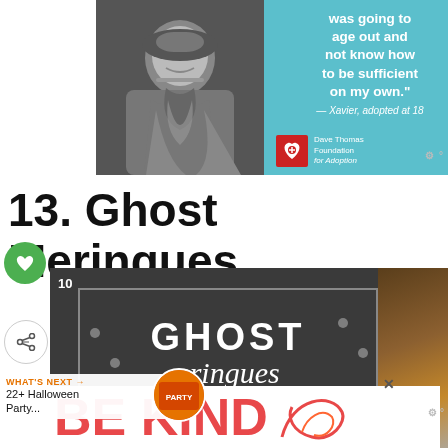[Figure (photo): Advertisement from Dave Thomas Foundation for Adoption featuring a young Black man in a black-and-white photo on the left, and a teal/blue background on the right with a quote and the Dave Thomas Foundation for Adoption logo.]
was going to age out and not know how to be sufficient on my own."
— Xavier, adopted at 18
13. Ghost Meringues
[Figure (photo): Ghost Meringues recipe card image with dark gray background showing text 'GHOST Meringues' in a bordered box, with count indicator '10' and share button visible.]
WHAT'S NEXT → 22+ Halloween Party...
[Figure (photo): Advertisement showing 'BE KIND' text in red/orange on white background.]